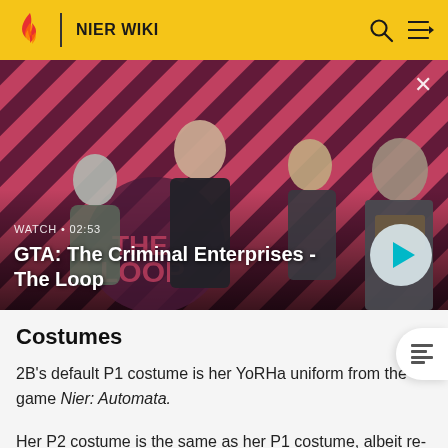NIER WIKI
[Figure (screenshot): Video thumbnail for 'GTA: The Criminal Enterprises - The Loop' showing four video game characters on a red diagonal striped background. Duration shown as 02:53. Includes a play button on the right.]
Costumes
2B's default P1 costume is her YoRHa uniform from the game Nier: Automata.
Her P2 costume is the same as her P1 costume, albeit re-